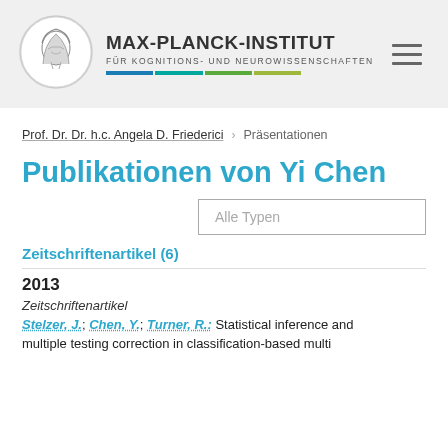[Figure (logo): Max-Planck-Institut logo with circular emblem showing Minerva head profile, institute name and colored bars]
MAX-PLANCK-INSTITUT FÜR KOGNITIONS- UND NEUROWISSENSCHAFTEN
Prof. Dr. Dr. h.c. Angela D. Friederici   Präsentationen
Publikationen von Yi Chen
Alle Typen
Zeitschriftenartikel (6)
2013
Zeitschriftenartikel
Stelzer, J.; Chen, Y.; Turner, R.: Statistical inference and multiple testing correction in classification-based multi